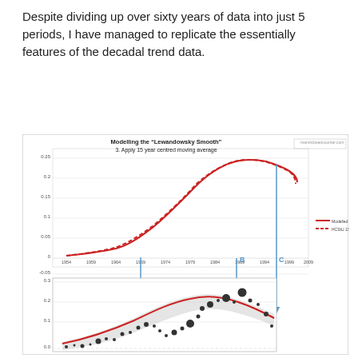Despite dividing up over sixty years of data into just 5 periods, I have managed to replicate the essentially features of the decadal trend data.
[Figure (continuous-plot): Two-panel chart. Top panel shows modelled 15-year moving average (red solid line) and HadCRU 15-year moving average (red dashed line) from ~1954 to 2009, with y-axis from -0.05 to 0.25. Arrows labelled A, B, C annotate key features. Bottom panel shows scatter plot with uncertainty band (grey shading) and red fitted curve, y-axis from 0.0 to 0.3, with black dots of varying size. manicbeancounter.com watermark visible.]